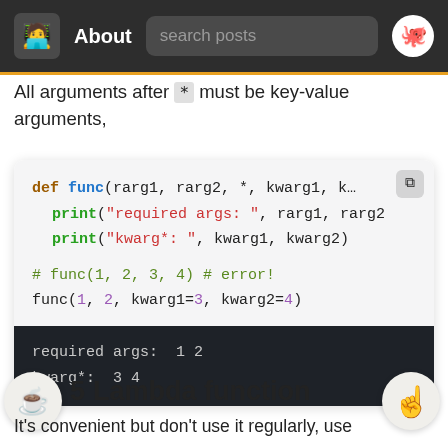About | search posts | GitHub
All arguments after * must be key-value arguments,
[Figure (screenshot): Python code block showing def func(rarg1, rarg2, *, kwarg1, kwarg2) with print statements, and a function call func(1, 2, kwarg1=3, kwarg2=4), followed by dark output panel showing: required args: 1 2 / kwarg*: 3 4]
5  Lambda function
It's convenient but don't use it regularly, use def (inline) instead